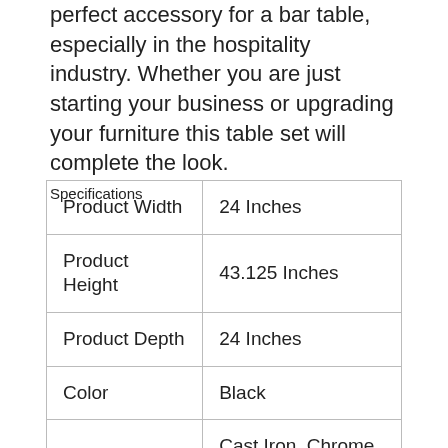perfect accessory for a bar table, especially in the hospitality industry. Whether you are just starting your business or upgrading your furniture this table set will complete the look.
Specifications
| Product Width | 24 Inches |
| Product Height | 43.125 Inches |
| Product Depth | 24 Inches |
| Color | Black |
| Material | Cast Iron, Chrome, Laminate, Medium Density Fiberboard, Metal, PVC |